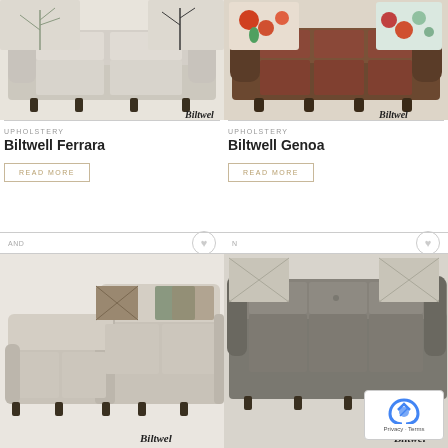[Figure (photo): Beige/taupe sofa with decorative pillows featuring branch patterns, Biltwell brand logo in bottom right]
[Figure (photo): Brown sofa with colorful floral/bird print pillows, Biltwell brand logo in bottom right]
UPHOLSTERY
Biltwell Ferrara
READ MORE
UPHOLSTERY
Biltwell Genoa
READ MORE
AND
N
[Figure (photo): Taupe/grey L-shaped sectional sofa with patterned throw pillows, Biltwell brand logo]
[Figure (photo): Dark grey sofa with light patterned pillows, partially shown brand logo, reCAPTCHA overlay in bottom right]